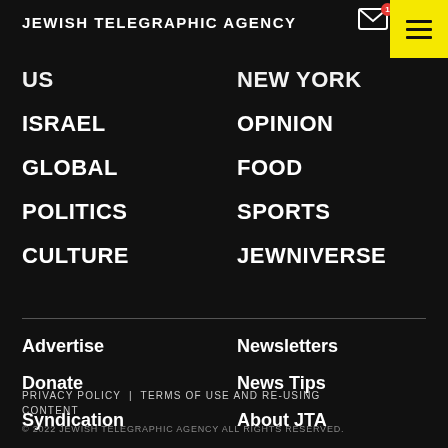JEWISH TELEGRAPHIC AGENCY
US
NEW YORK
ISRAEL
OPINION
GLOBAL
FOOD
POLITICS
SPORTS
CULTURE
JEWNIVERSE
Advertise
Newsletters
Donate
News Tips
Syndication
About JTA
Archive
Contact Us
PRIVACY POLICY | TERMS OF USE AND RE-USING CONTENT
© 2022 JEWISH TELEGRAPHIC AGENCY ALL RIGHTS RESERVED.